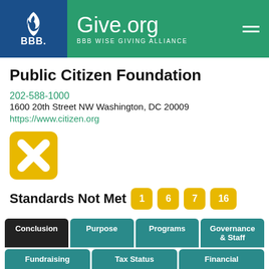[Figure (logo): BBB Give.org BBB Wise Giving Alliance header with BBB flame logo on dark blue background and Give.org text on green background with hamburger menu icon]
Public Citizen Foundation
202-588-1000
1600 20th Street NW Washington, DC 20009
https://www.citizen.org
[Figure (other): Yellow rounded square with white X mark indicating Standards Not Met]
Standards Not Met  1  6  7  16
Conclusion  Purpose  Programs  Governance & Staff  Fundraising  Tax Status  Financial